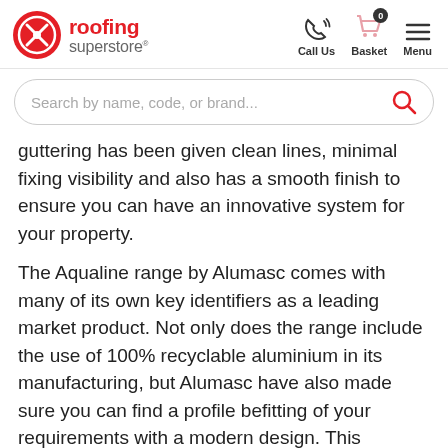[Figure (logo): Roofing Superstore logo with red circular badge icon and text 'roofing superstore']
Call Us | Basket (0) | Menu
Search by name, code, or brand...
guttering has been given clean lines, minimal fixing visibility and also has a smooth finish to ensure you can have an innovative system for your property.
The Aqualine range by Alumasc comes with many of its own key identifiers as a leading market product. Not only does the range include the use of 100% recyclable aluminium in its manufacturing, but Alumasc have also made sure you can find a profile befitting of your requirements with a modern design. This includes concealed fixing and jointing to ensure a clean external appearance and minimise the risk of leaking to occur. Which is then aided further by dry joint seals